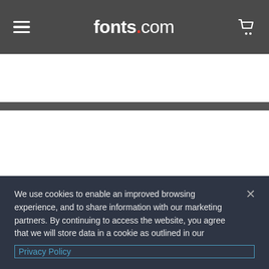fonts.com
Search Fonts.com
Friday
By Fatchair
We use cookies to enable an improved browsing experience, and to share information with our marketing partners. By continuing to access the website, you agree that we will store data in a cookie as outlined in our Privacy Policy